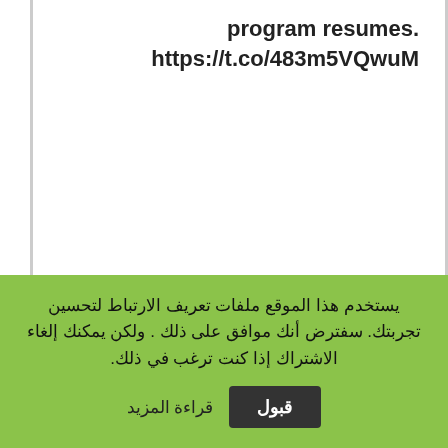program resumes. https://t.co/483m5VQwuM
يستخدم هذا الموقع ملفات تعريف الارتباط لتحسين تجربتك. سفترض أنك موافق على ذلك . ولكن يمكنك إلغاء الاشتراك إذا كنت ترغب في ذلك.